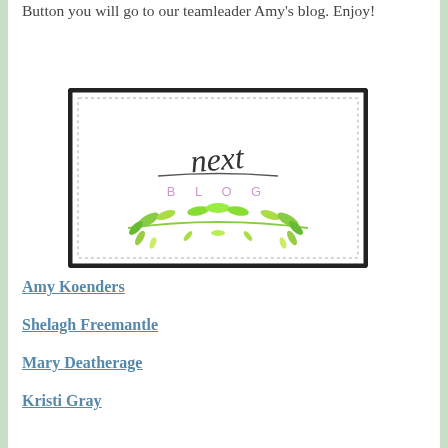Button you will go to our teamleader Amy's blog. Enjoy!
[Figure (illustration): A decorative 'next blog' button image with cursive 'next' text, 'BLOG' in spaced pink/purple letters, and a green leafy branch illustration, set inside a double-bordered rectangle.]
Amy Koenders
Shelagh Freemantle
Mary Deatherage
Kristi Gray